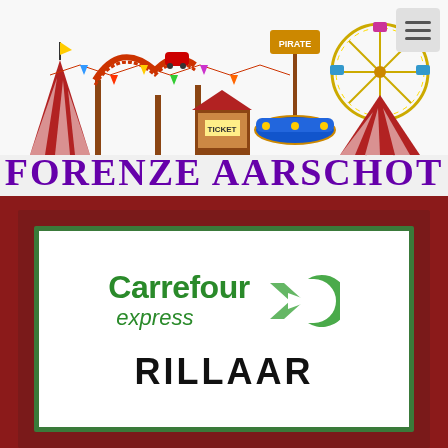[Figure (illustration): Colorful cartoon fair/carnival illustration with roller coasters, ferris wheel, circus tents with red and white stripes, ticket booths, and amusement rides. Text 'FORENZE AARSCHOT' in large purple/violet letters at the bottom of the illustration.]
[Figure (logo): Carrefour Express logo with green text 'Carrefour' in bold, italic 'express' below it, and the Carrefour double-chevron 'C' symbol to the right in green, all inside a white box with dark green border. Below the logo text reads 'RILLAAR' in large black capital letters.]